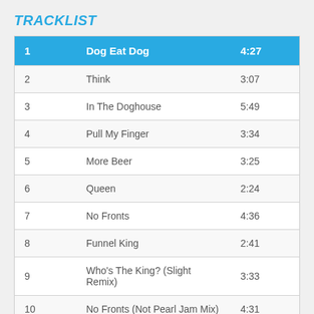TRACKLIST
| 1 | Dog Eat Dog | 4:27 |
| --- | --- | --- |
| 2 | Think | 3:07 |
| 3 | In The Doghouse | 5:49 |
| 4 | Pull My Finger | 3:34 |
| 5 | More Beer | 3:25 |
| 6 | Queen | 2:24 |
| 7 | No Fronts | 4:36 |
| 8 | Funnel King | 2:41 |
| 9 | Who's The King? (Slight Remix) | 3:33 |
| 10 | No Fronts (Not Pearl Jam Mix) | 4:31 |